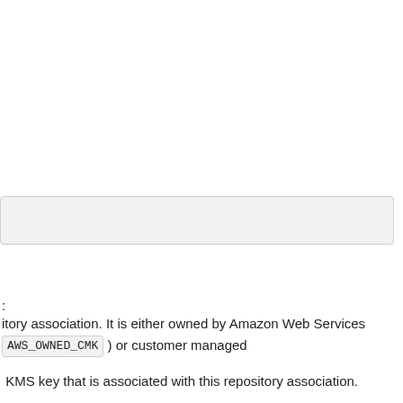[Figure (other): Empty gray input/text field box 1]
[Figure (other): Empty gray input/text field box 2]
:
itory association. It is either owned by Amazon Web Services AWS_OWNED_CMK ) or customer managed
KMS key that is associated with this repository association.